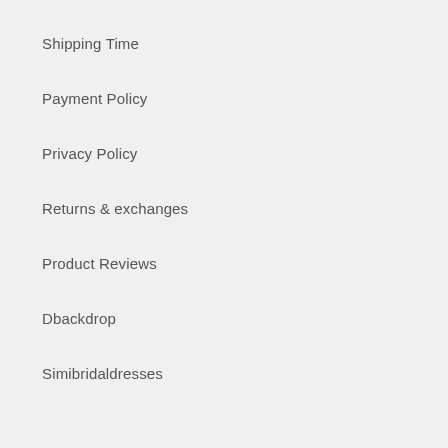Shipping Time
Payment Policy
Privacy Policy
Returns & exchanges
Product Reviews
Dbackdrop
Simibridaldresses